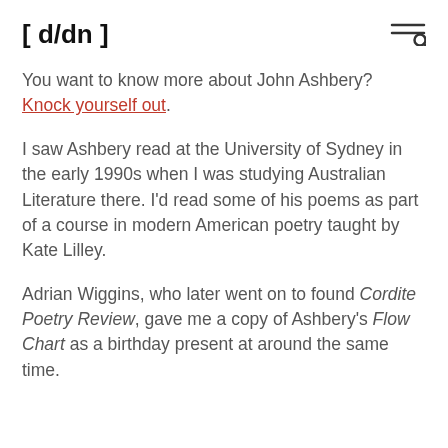[ d/dn ]
You want to know more about John Ashbery? Knock yourself out.
I saw Ashbery read at the University of Sydney in the early 1990s when I was studying Australian Literature there. I'd read some of his poems as part of a course in modern American poetry taught by Kate Lilley.
Adrian Wiggins, who later went on to found Cordite Poetry Review, gave me a copy of Ashbery's Flow Chart as a birthday present at around the same time.